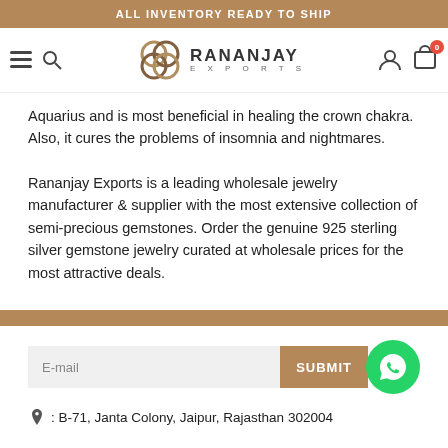ALL INVENTORY READY TO SHIP
[Figure (logo): Rananjay Exports logo with navigation icons (hamburger, search, user, cart with badge 0)]
Aquarius and is most beneficial in healing the crown chakra. Also, it cures the problems of insomnia and nightmares.
Rananjay Exports is a leading wholesale jewelry manufacturer & supplier with the most extensive collection of semi-precious gemstones. Order the genuine 925 sterling silver gemstone jewelry curated at wholesale prices for the most attractive deals.
E-mail
SUBMIT
: B-71, Janta Colony, Jaipur, Rajasthan 302004